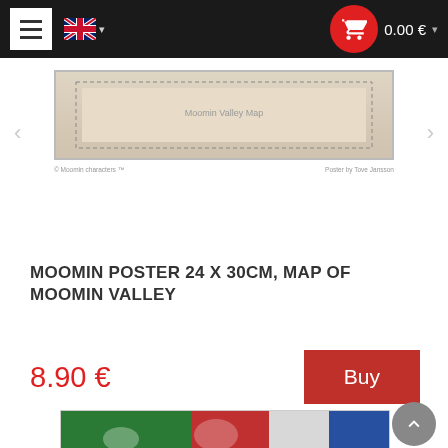Navigation bar with menu, UK flag language selector, and cart showing 0.00 €
[Figure (photo): Top portion of a Moomin poster product image showing a map of Moomin Valley with navigation arrows on sides and small caption labels below]
MOOMIN POSTER 24 X 30CM, MAP OF MOOMIN VALLEY
8.90 €
Buy
[Figure (photo): Bottom portion of another Moomin product image showing colorful illustrated characters on a green, red and blue background]